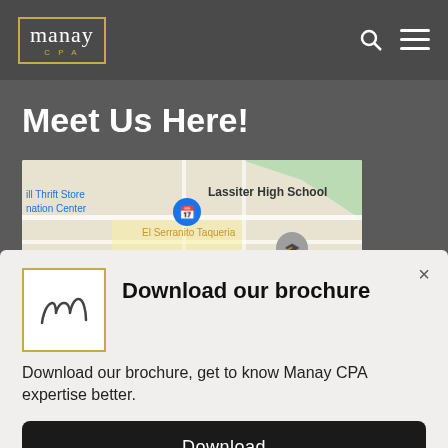[Figure (logo): Manay CPA logo with gold border and script lettering]
Meet Us Here!
[Figure (map): Google Maps snippet showing area near Lassiter High School and El Serranito Taqueria]
Download our brochure
Download our brochure, get to know Manay CPA expertise better.
Download